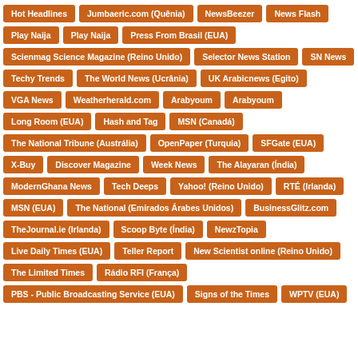Hot Headlines
Jumbaeric.com (Quênia)
NewsBeezer
News Flash
Play Naija
Play Naija
Press From Brasil (EUA)
Scienmag Science Magazine (Reino Unido)
Selector News Station
SN News
Techy Trends
The World News (Ucrânia)
UK Arabicnews (Egito)
VGA News
Weatherherald.com
Arabyoum
Arabyoum
Long Room (EUA)
Hash and Tag
MSN (Canadá)
The National Tribune (Austrália)
OpenPaper (Turquia)
SFGate (EUA)
X-Buy
Discover Magazine
Week News
The Alayaran (Índia)
ModernGhana News
Tech Deeps
Yahoo! (Reino Unido)
RTÉ (Irlanda)
MSN (EUA)
The National (Emirados Árabes Unidos)
BusinessGlitz.com
TheJournal.ie (Irlanda)
Scoop Byte (Índia)
NewzTopia
Live Daily Times (EUA)
Teller Report
New Scientist online (Reino Unido)
The Limited Times
Rádio RFI (França)
PBS - Public Broadcasting Service (EUA)
Signs of the Times
WPTV (EUA)